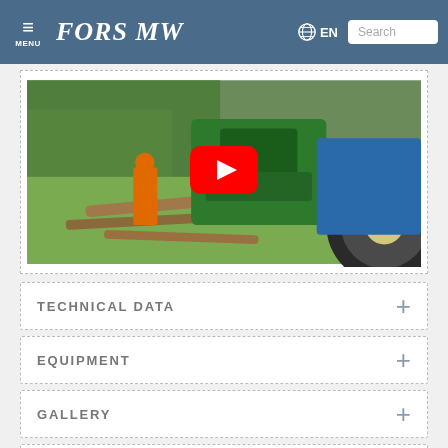MENU | FORS MW | EN | Search
[Figure (screenshot): YouTube video thumbnail showing a green forestry machine/wood chipper attached to a blue tractor in a forest setting, with a worker in orange safety gear. A red YouTube play button overlay is centered on the image.]
TECHNICAL DATA
EQUIPMENT
GALLERY
BROCHURE